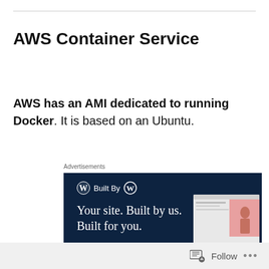AWS Container Service
AWS has an AMI dedicated to running Docker. It is based on an Ubuntu.
Advertisements
[Figure (illustration): WordPress 'Built By' advertisement banner with dark navy background. Shows 'Built By' with WordPress logo, headline 'Your site. Built by us. Built for you.', a 'Get a quote now' button, and mockup website screenshots on the right side.]
Follow ...